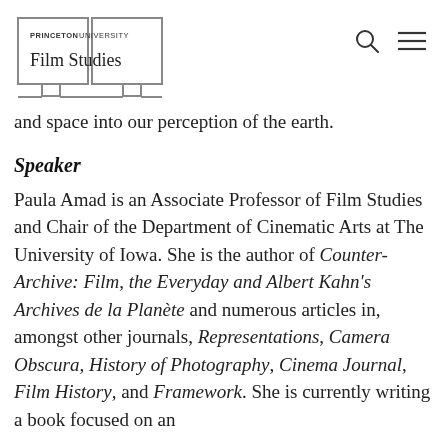PRINCETON UNIVERSITY Film Studies
and space into our perception of the earth.
Speaker
Paula Amad is an Associate Professor of Film Studies and Chair of the Department of Cinematic Arts at The University of Iowa. She is the author of Counter-Archive: Film, the Everyday and Albert Kahn's Archives de la Planète and numerous articles in, amongst other journals, Representations, Camera Obscura, History of Photography, Cinema Journal, Film History, and Framework. She is currently writing a book focused on an